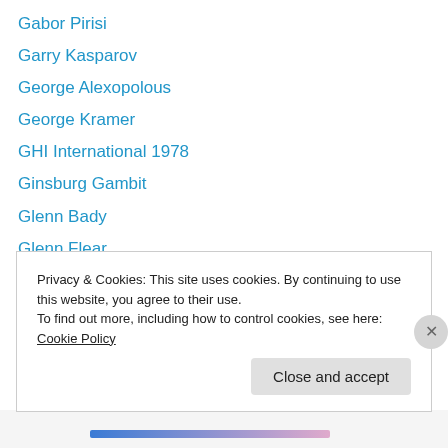Gabor Pirisi
Garry Kasparov
George Alexopolous
George Kramer
GHI International 1978
Ginsburg Gambit
Glenn Bady
Glenn Flear
Glenn Lambert
GM Anatoly Lein
GM Bent Larsen
GM Boris Gelfand
GM Evgeni Agrest
Privacy & Cookies: This site uses cookies. By continuing to use this website, you agree to their use.
To find out more, including how to control cookies, see here: Cookie Policy